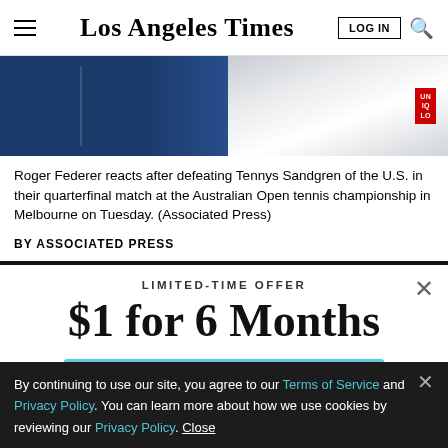Los Angeles Times
[Figure (photo): Roger Federer in white top with Uniqlo badge, partial cropped photo from Australian Open quarterfinal match]
Roger Federer reacts after defeating Tennys Sandgren of the U.S. in their quarterfinal match at the Australian Open tennis championship in Melbourne on Tuesday. (Associated Press)
BY ASSOCIATED PRESS
LIMITED-TIME OFFER
$1 for 6 Months
SUBSCRIBE NOW
By continuing to use our site, you agree to our Terms of Service and Privacy Policy. You can learn more about how we use cookies by reviewing our Privacy Policy. Close